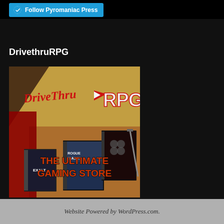Follow Pyromaniac Press
DrivethruRPG
[Figure (illustration): DriveThruRPG advertisement banner showing the DriveThruRPG logo with text 'The Ultimate Gaming Store' and several RPG book covers including Rogue Trader and Exalted]
Website Powered by WordPress.com.